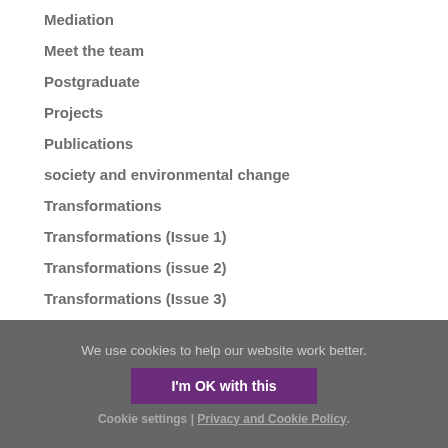Mediation
Meet the team
Postgraduate
Projects
Publications
society and environmental change
Transformations
Transformations (Issue 1)
Transformations (issue 2)
Transformations (Issue 3)
We use cookies to help our website work better.
I'm OK with this
Cookie settings | Privacy and Cookie Policy